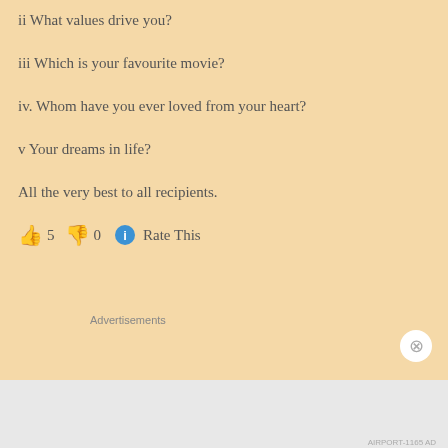ii What values drive you?
iii Which is your favourite movie?
iv. Whom have you ever loved from your heart?
v Your dreams in life?
All the very best to all recipients.
👍 5 👎 0 ℹ Rate This
[Figure (screenshot): Jetpack advertisement with green background showing 'We guard your' text]
[Figure (screenshot): Fewer meetings, more work. advertisement on black background with P2 logo]